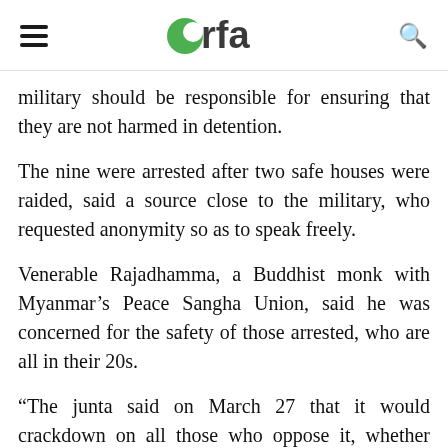rfa
military should be responsible for ensuring that they are not harmed in detention.
The nine were arrested after two safe houses were raided, said a source close to the military, who requested anonymity so as to speak freely.
Venerable Rajadhamma, a Buddhist monk with Myanmar’s Peace Sangha Union, said he was concerned for the safety of those arrested, who are all in their 20s.
“The junta said on March 27 that it would crackdown on all those who oppose it, whether they are laymen or monks,” he told RFA.